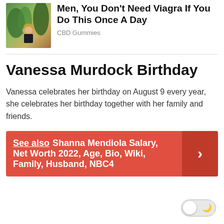[Figure (photo): Advertisement image of a woman outdoors with trees and a building in the background.]
Men, You Don't Need Viagra If You Do This Once A Day
CBD Gummies
Vanessa Murdock Birthday
Vanessa celebrates her birthday on August 9 every year, she celebrates her birthday together with her family and friends.
See also  Shanna Mendiola Salary, Net Worth 2022, Age, Bio, Wiki, Family, Husband, NBC4